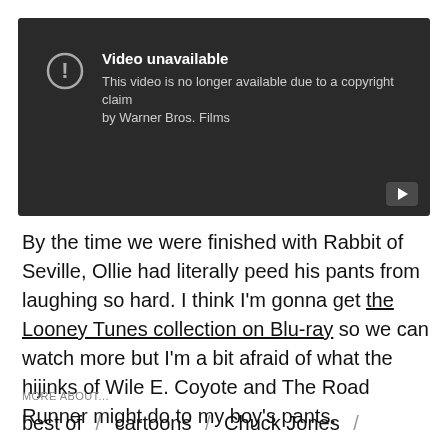[Figure (screenshot): YouTube video unavailable screen with dark background showing 'Video unavailable - This video is no longer available due to a copyright claim by Warner Bros. Films' message with exclamation circle icon and play button in bottom-right corner.]
By the time we were finished with Rabbit of Seville, Ollie had literally peed his pants from laughing so hard. I think I'm gonna get the Looney Tunes collection on Blu-ray so we can watch more but I'm a bit afraid of what the hijinks of Wile E. Coyote and The Road Runner might do to my boy's pants.
MORE ABOUT...
best of / cartoons / Chuck Jones /